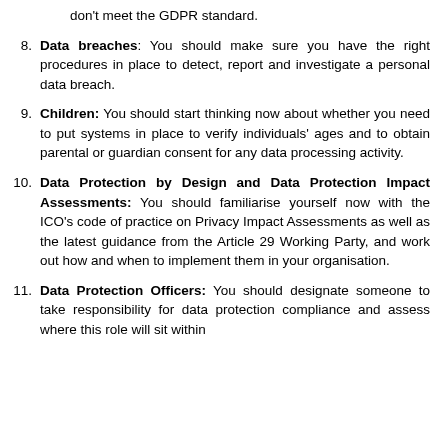don't meet the GDPR standard.
8. Data breaches: You should make sure you have the right procedures in place to detect, report and investigate a personal data breach.
9. Children: You should start thinking now about whether you need to put systems in place to verify individuals' ages and to obtain parental or guardian consent for any data processing activity.
10. Data Protection by Design and Data Protection Impact Assessments: You should familiarise yourself now with the ICO’s code of practice on Privacy Impact Assessments as well as the latest guidance from the Article 29 Working Party, and work out how and when to implement them in your organisation.
11. Data Protection Officers: You should designate someone to take responsibility for data protection compliance and assess where this role will sit within